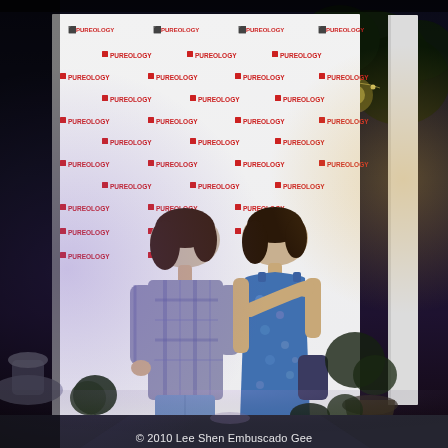[Figure (photo): Two young women posing together in front of a white Pureology branded step-and-repeat backdrop at a nighttime outdoor event. The woman on the left wears a plaid shirt and jeans, the woman on the right wears a blue floral strapless dress. There are decorative garden elements including topiary balls and potted plants. String lights and garden lighting are visible in the background on the right. A fountain or decorative element is partially visible on the left. The scene has purple/blue ambient lighting.]
© 2010 Lee Shen Embuscado Gee